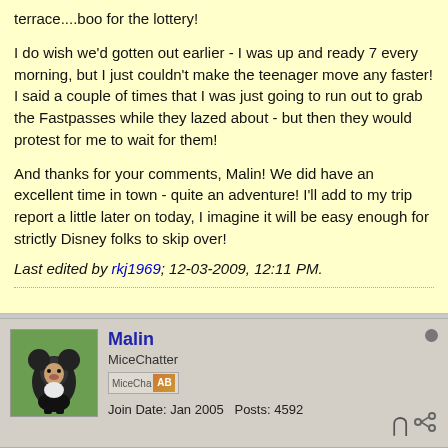terrace....boo for the lottery!
I do wish we'd gotten out earlier - I was up and ready 7 every morning, but I just couldn't make the teenager move any faster! I said a couple of times that I was just going to run out to grab the Fastpasses while they lazed about - but then they would protest for me to wait for them!
And thanks for your comments, Malin! We did have an excellent time in town - quite an adventure! I'll add to my trip report a little later on today, I imagine it will be easy enough for strictly Disney folks to skip over!
Last edited by rkj1969; 12-03-2009, 12:11 PM.
Malin
MiceChatter
Join Date: Jan 2005   Posts: 4592
12-03-2009, 12:47 PM
#8
Re: Thanksgiving week at TDR!